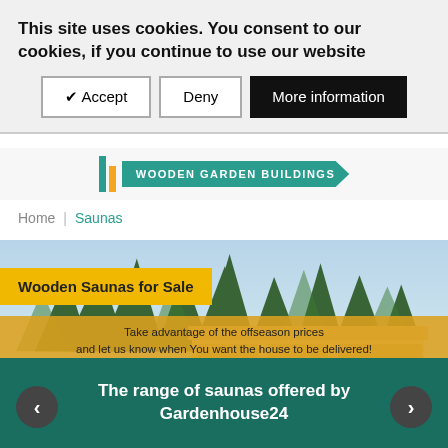This site uses cookies. You consent to our cookies, if you continue to use our website
✔ Accept | Deny | More information
[Figure (logo): Gardenhouse24 logo with teal and orange stripes and WOODEN GARDEN BUILDINGS tag]
Home | Saunas
[Figure (photo): Hero image showing a wooden sauna building with flat roof surrounded by pine trees and a garden.]
Wooden Saunas for Sale
Take advantage of the offseason prices and let us know when You want the house to be delivered! We will store it for free!
The range of saunas offered by Gardenhouse24